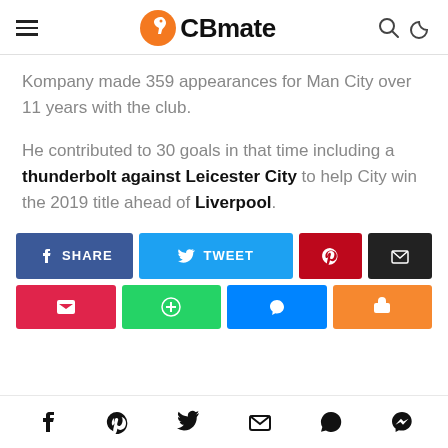CBmate
Kompany made 359 appearances for Man City over 11 years with the club.
He contributed to 30 goals in that time including a thunderbolt against Leicester City to help City win the 2019 title ahead of Liverpool.
[Figure (other): Social share buttons: SHARE (Facebook), TWEET (Twitter), Pinterest, Email, and a second row of share buttons (red, green, blue, orange)]
Footer social icons: Facebook, Pinterest, Twitter, Email, WhatsApp, Messenger